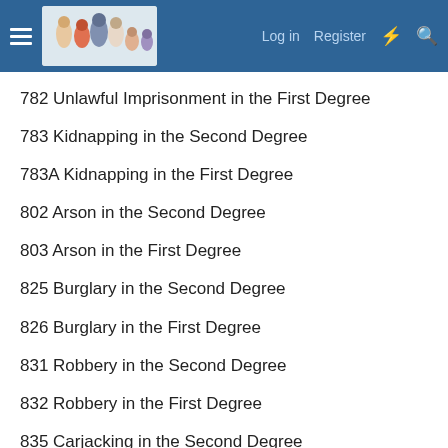Log in  Register
782 Unlawful Imprisonment in the First Degree
783 Kidnapping in the Second Degree
783A Kidnapping in the First Degree
802 Arson in the Second Degree
803 Arson in the First Degree
825 Burglary in the Second Degree
826 Burglary in the First Degree
831 Robbery in the Second Degree
832 Robbery in the First Degree
835 Carjacking in the Second Degree